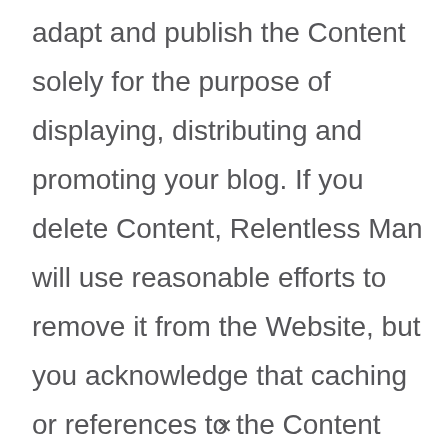adapt and publish the Content solely for the purpose of displaying, distributing and promoting your blog. If you delete Content, Relentless Man will use reasonable efforts to remove it from the Website, but you acknowledge that caching or references to the Content may not be made immediately unavailable.